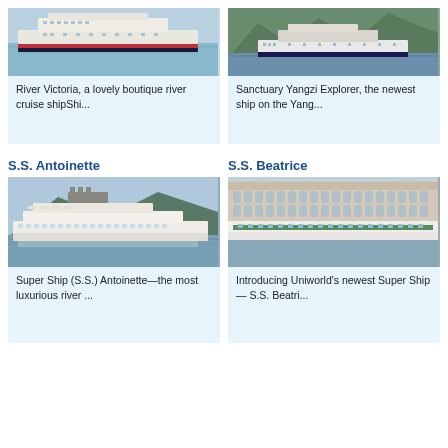[Figure (photo): River Victoria cruise ship on water]
River Victoria, a lovely boutique river cruise shipShi...
[Figure (photo): Sanctuary Yangzi Explorer ship near green cliffs]
Sanctuary Yangzi Explorer, the newest ship on the Yang...
S.S. Antoinette
[Figure (photo): S.S. Antoinette river cruise ship on the Rhine]
Super Ship (S.S.) Antoinette—the most luxurious river ...
S.S. Beatrice
[Figure (photo): S.S. Beatrice ship in front of ornate European building]
Introducing Uniworld's newest Super Ship — S.S. Beatri...